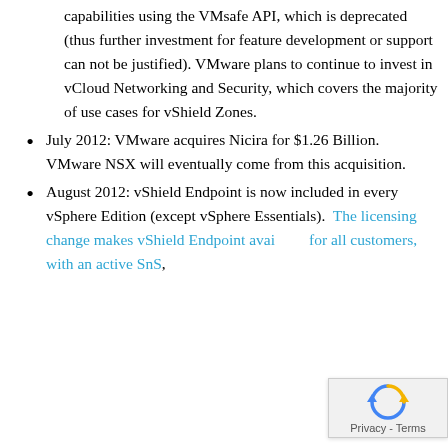capabilities using the VMsafe API, which is deprecated (thus further investment for feature development or support can not be justified). VMware plans to continue to invest in vCloud Networking and Security, which covers the majority of use cases for vShield Zones.
July 2012: VMware acquires Nicira for $1.26 Billion.  VMware NSX will eventually come from this acquisition.
August 2012: vShield Endpoint is now included in every vSphere Edition (except vSphere Essentials).  The licensing change makes vShield Endpoint available for all customers, with an active SnS,